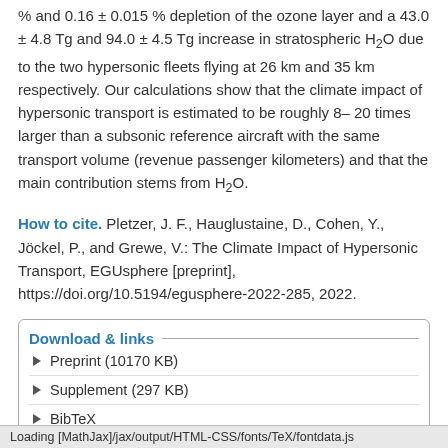% and 0.16 ± 0.015 % depletion of the ozone layer and a 43.0 ± 4.8 Tg and 94.0 ± 4.5 Tg increase in stratospheric H₂O due to the two hypersonic fleets flying at 26 km and 35 km respectively. Our calculations show that the climate impact of hypersonic transport is estimated to be roughly 8–20 times larger than a subsonic reference aircraft with the same transport volume (revenue passenger kilometers) and that the main contribution stems from H₂O.
How to cite. Pletzer, J. F., Hauglustaine, D., Cohen, Y., Jöckel, P., and Grewe, V.: The Climate Impact of Hypersonic Transport, EGUsphere [preprint], https://doi.org/10.5194/egusphere-2022-285, 2022.
Download & links
Preprint (10170 KB)
Supplement (297 KB)
BibTeX
Loading [MathJax]/jax/output/HTML-CSS/fonts/TeX/fontdata.js